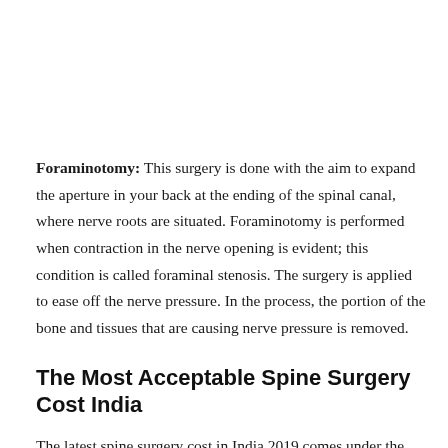Foraminotomy: This surgery is done with the aim to expand the aperture in your back at the ending of the spinal canal, where nerve roots are situated. Foraminotomy is performed when contraction in the nerve opening is evident; this condition is called foraminal stenosis. The surgery is applied to ease off the nerve pressure. In the process, the portion of the bone and tissues that are causing nerve pressure is removed.
The Most Acceptable Spine Surgery Cost India
The latest spine surgery cost in India 2019 comes under the